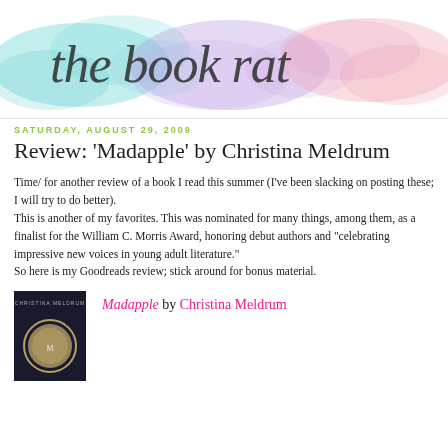[Figure (illustration): The Book Rat blog header with watercolor pastel background in teal, lavender, and pink, with cursive calligraphy text reading 'the book rat']
Saturday, August 29, 2009
Review: 'Madapple' by Christina Meldrum
Time/ for another review of a book I read this summer (I've been slacking on posting these; I will try to do better).
This is another of my favorites. This was nominated for many things, among them, as a finalist for the William C. Morris Award, honoring debut authors and "celebrating impressive new voices in young adult literature."
So here is my Goodreads review; stick around for bonus material.
[Figure (photo): Book cover of Madapple by Christina Meldrum, dark background with a circular coin or medallion image]
Madapple by Christina Meldrum